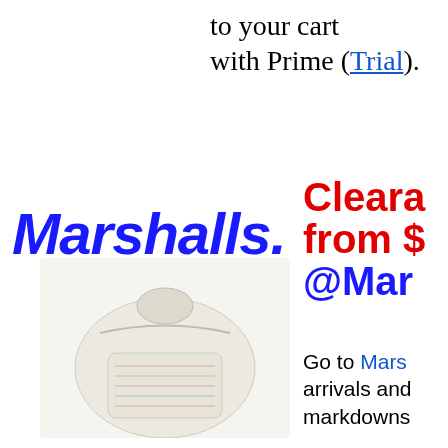to your cart with Prime (Trial).
[Figure (logo): Marshalls logo in blue italic bold text]
Clearance from $ @Marshalls Go to Marshalls arrivals and markdowns
[Figure (photo): Light-colored patterned backpack/bag product image]